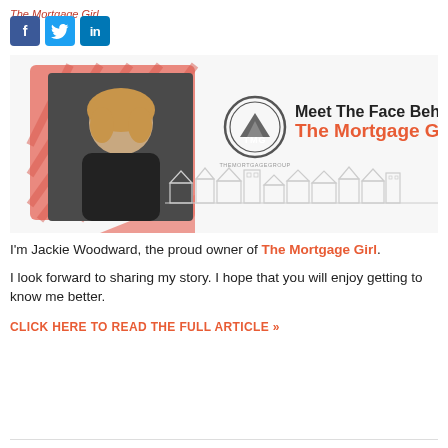The Mortgage Girl
[Figure (illustration): Social media icons: Facebook (blue f), Twitter (blue bird), LinkedIn (blue in)]
[Figure (photo): Promotional banner for 'The Mortgage Girl' featuring a photo of Jackie Woodward (blonde woman in black top with arms crossed), TMG logo circle, text 'Meet The Face Behind The Mortgage Girl' in bold with an illustrated neighborhood skyline]
I'm Jackie Woodward, the proud owner of The Mortgage Girl.
I look forward to sharing my story. I hope that you will enjoy getting to know me better.
CLICK HERE TO READ THE FULL ARTICLE »